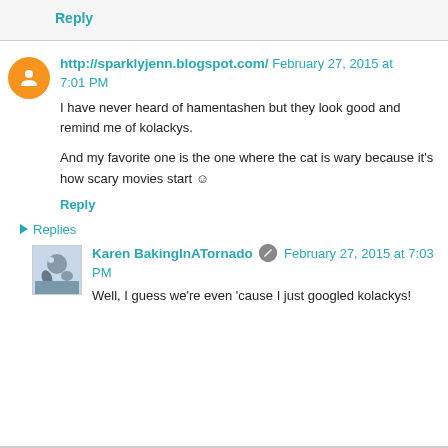My bad.
Reply
http://sparklyjenn.blogspot.com/  February 27, 2015 at 7:01 PM
I have never heard of hamentashen but they look good and remind me of kolackys.

And my favorite one is the one where the cat is wary because it's how scary movies start ☺
Reply
Replies
Karen BakingInATornado  February 27, 2015 at 7:03 PM
Well, I guess we're even 'cause I just googled kolackys!